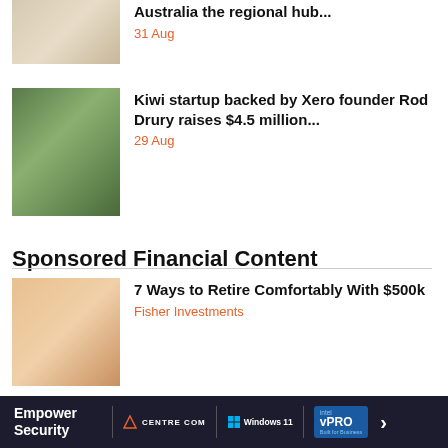[Figure (photo): Person lying on floor with laptop]
Australia the regional hub...
31 Aug
[Figure (photo): Man standing in front of wooden wall background]
Kiwi startup backed by Xero founder Rod Drury raises $4.5 million...
29 Aug
Sponsored Financial Content
[Figure (photo): Smiling couple, older man and woman]
7 Ways to Retire Comfortably With $500k
Fisher Investments
[Figure (photo): Person with teal/cyan background]
Get up to $5,000* + commission-free equities & options
[Figure (screenshot): Advertisement banner: Empower Security, Centre Com, Windows 11, Intel vPRO]